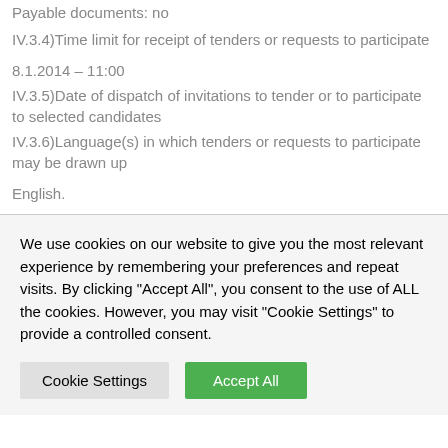Payable documents: no
IV.3.4)Time limit for receipt of tenders or requests to participate
8.1.2014 – 11:00
IV.3.5)Date of dispatch of invitations to tender or to participate to selected candidates
IV.3.6)Language(s) in which tenders or requests to participate may be drawn up
English.
We use cookies on our website to give you the most relevant experience by remembering your preferences and repeat visits. By clicking "Accept All", you consent to the use of ALL the cookies. However, you may visit "Cookie Settings" to provide a controlled consent.